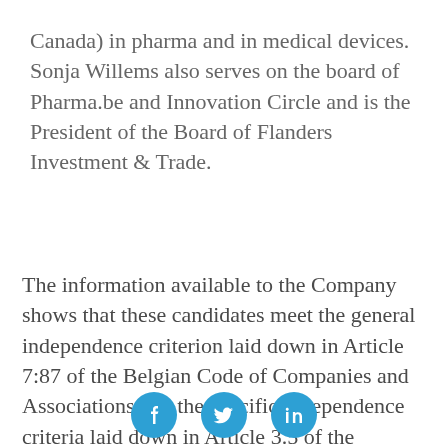Canada) in pharma and in medical devices. Sonja Willems also serves on the board of Pharma.be and Innovation Circle and is the President of the Board of Flanders Investment & Trade.
The information available to the Company shows that these candidates meet the general independence criterion laid down in Article 7:87 of the Belgian Code of Companies and Associations and the specific independence criteria laid down in Article 3.5 of the Corporate Governance Code
[Figure (other): Social media icons: Facebook, Twitter, LinkedIn]